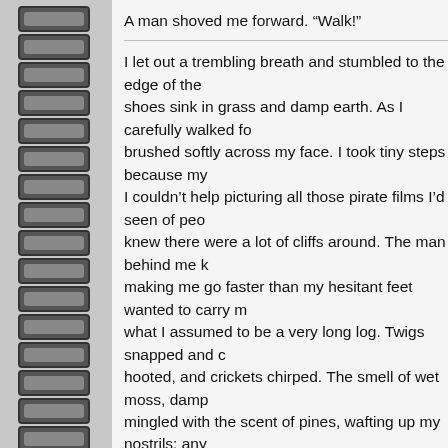A man shoved me forward. “Walk!”
I let out a trembling breath and stumbled to the edge of the shoes sink in grass and damp earth. As I carefully walked fo brushed softly across my face. I took tiny steps because my I couldn’t help picturing all those pirate films I’d seen of peo knew there were a lot of cliffs around. The man behind me k making me go faster than my hesitant feet wanted to carry m what I assumed to be a very long log. Twigs snapped and c hooted, and crickets chirped. The smell of wet moss, damp mingled with the scent of pines, wafting up my nostrils; any have been beautiful. My heart lurched. I was sure they were location for my execution, a place where no one would ever sent droplets of nervous perspiration rolling down my face, p
I refused, however, to go quietly. I couldn’t do much to fight make it harder on them. They’ll have to carry my corpse, be to the middle of nowhere and shovel my own grave. I’m not them! I took a huge step to the left, and then bolted.